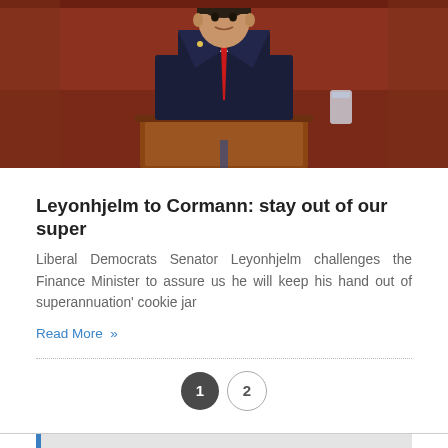[Figure (photo): A man in a dark suit with a red tie standing at a wooden podium, apparently in a parliamentary chamber with red-colored furnishings in the background.]
Leyonhjelm to Cormann: stay out of our super
Liberal Democrats Senator Leyonhjelm challenges the Finance Minister to assure us he will keep his hand out of superannuation' cookie jar
Read More »
LATEST NEWS